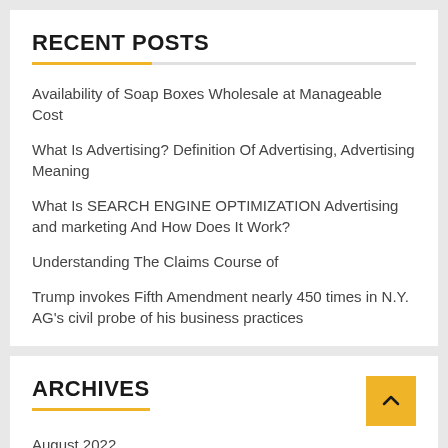RECENT POSTS
Availability of Soap Boxes Wholesale at Manageable Cost
What Is Advertising? Definition Of Advertising, Advertising Meaning
What Is SEARCH ENGINE OPTIMIZATION Advertising and marketing And How Does It Work?
Understanding The Claims Course of
Trump invokes Fifth Amendment nearly 450 times in N.Y. AG's civil probe of his business practices
ARCHIVES
August 2022